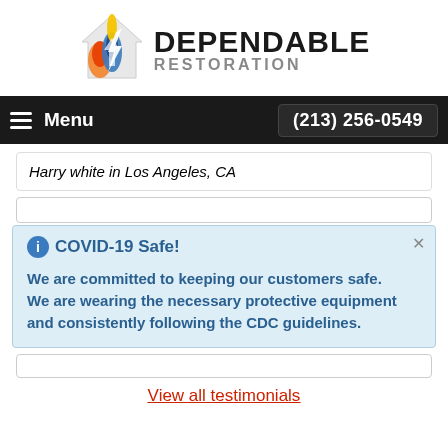[Figure (logo): Dependable Restoration logo with flame/house icon and company name]
Menu  (213) 256-0549
Harry white in Los Angeles, CA
COVID-19 Safe!

We are committed to keeping our customers safe. We are wearing the necessary protective equipment
and consistently following the CDC guidelines.
View all testimonials